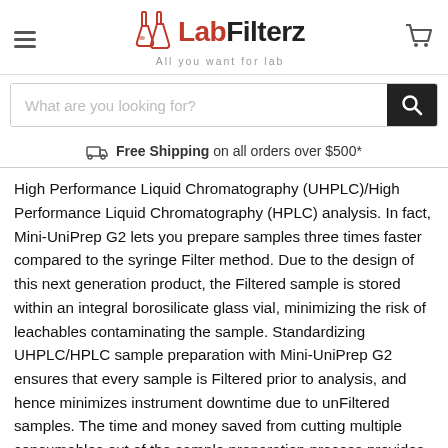LabFilterz – All you want for lab
What are you looking for?
Free Shipping on all orders over $500*
High Performance Liquid Chromatography (UHPLC)/High Performance Liquid Chromatography (HPLC) analysis. In fact, Mini-UniPrep G2 lets you prepare samples three times faster compared to the syringe Filter method. Due to the design of this next generation product, the Filtered sample is stored within an integral borosilicate glass vial, minimizing the risk of leachables contaminating the sample. Standardizing UHPLC/HPLC sample preparation with Mini-UniPrep G2 ensures that every sample is Filtered prior to analysis, and hence minimizes instrument downtime due to unFiltered samples. The time and money saved from cutting multiple consumables out of the sample preparation process provides immediate benefits for your laboratory.